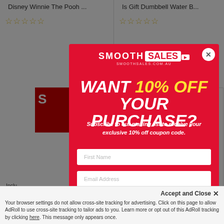Disney Winnie The Pooh ...
Is Gift Dumbbell Water B...
[Figure (screenshot): SmoothSales popup modal with red background, logo at top, headline 'WANT 10% OFF YOUR PURCHASE?', subscription form with First Name and Email Address fields and Subscribe button]
Subscribe to our mailing list to receive your exclusive 10% off coupon code.
First Name
Email Address
SUBSCRIBE FOR 10% OFF
Accept and Close ✕
Your browser settings do not allow cross-site tracking for advertising. Click on this page to allow AdRoll to use cross-site tracking to tailor ads to you. Learn more or opt out of this AdRoll tracking by clicking here. This message only appears once.